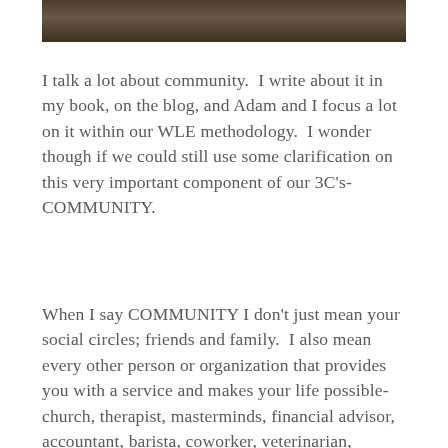[Figure (photo): Partial photo strip at top of page showing dark/muted tones, appears to be a group or indoor scene]
I talk a lot about community.  I write about it in my book, on the blog, and Adam and I focus a lot on it within our WLE methodology.  I wonder though if we could still use some clarification on this very important component of our 3C's-COMMUNITY.
When I say COMMUNITY I don't just mean your social circles; friends and family.  I also mean every other person or organization that provides you with a service and makes your life possible- church, therapist, masterminds, financial advisor, accountant, barista, coworker, veterinarian, dermatologist; ALL